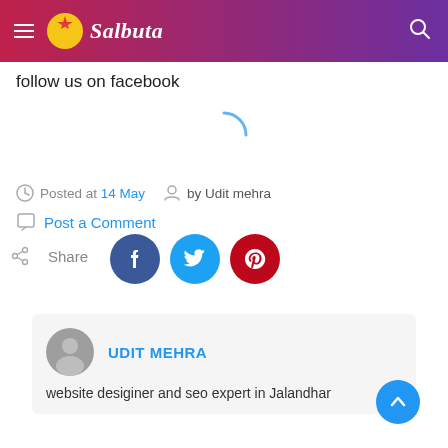Salbuta
follow us on facebook
[Figure (other): Loading spinner arc in light blue]
Posted at 14 May  by Udit mehra
Post a Comment
Share
[Figure (other): Social share icons: Facebook, Twitter, Pinterest]
UDIT MEHRA
website desiginer and seo expert in Jalandhar